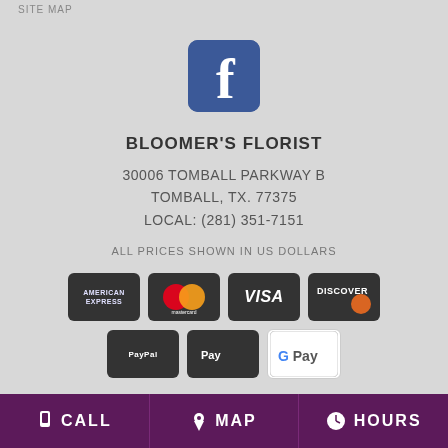SITE MAP
[Figure (logo): Facebook logo — blue rounded square with white 'f' icon]
BLOOMER'S FLORIST
30006 TOMBALL PARKWAY B
TOMBALL, TX. 77375
LOCAL: (281) 351-7151
ALL PRICES SHOWN IN US DOLLARS
[Figure (logo): Payment method logos: American Express, Mastercard, Visa, Discover, PayPal, Apple Pay, Google Pay]
CALL   MAP   HOURS